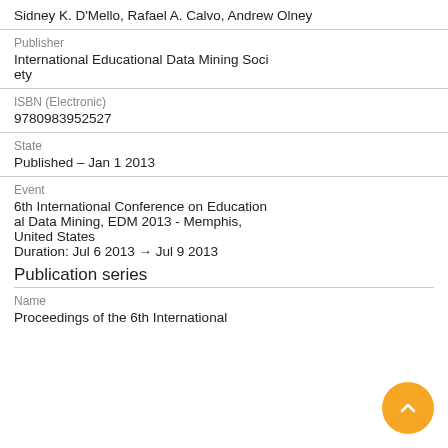Sidney K. D'Mello, Rafael A. Calvo, Andrew Olney
Publisher
International Educational Data Mining Society
ISBN (Electronic)
9780983952527
State
Published – Jan 1 2013
Event
6th International Conference on Educational Data Mining, EDM 2013 - Memphis, United States
Duration: Jul 6 2013 → Jul 9 2013
Publication series
Name
Proceedings of the 6th International